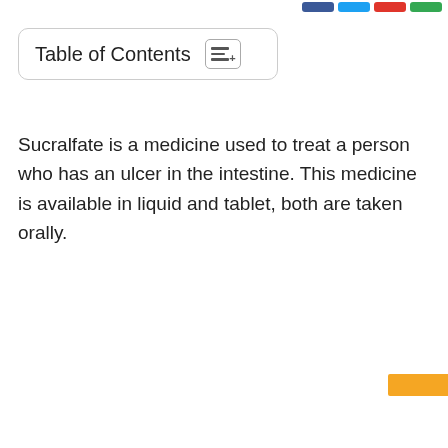[Figure (other): Partial view of social share buttons (blue, red, green colored buttons) at top right]
Table of Contents
Sucralfate is a medicine used to treat a person who has an ulcer in the intestine. This medicine is available in liquid and tablet, both are taken orally.